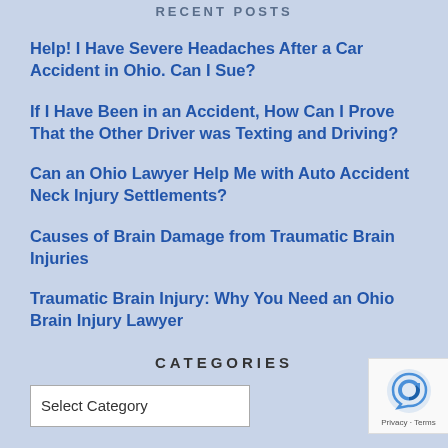RECENT POSTS
Help! I Have Severe Headaches After a Car Accident in Ohio. Can I Sue?
If I Have Been in an Accident, How Can I Prove That the Other Driver was Texting and Driving?
Can an Ohio Lawyer Help Me with Auto Accident Neck Injury Settlements?
Causes of Brain Damage from Traumatic Brain Injuries
Traumatic Brain Injury: Why You Need an Ohio Brain Injury Lawyer
CATEGORIES
Select Category